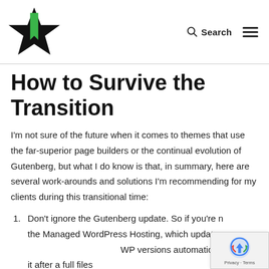Logo | Search | Menu
How to Survive the Transition
I'm not sure of the future when it comes to themes that use the far-superior page builders or the continual evolution of Gutenberg, but what I do know is that, in summary, here are several work-arounds and solutions I'm recommending for my clients during this transitional time:
1. Don't ignore the Gutenberg update. So if you're not using the Managed WordPress Hosting, which updates WP versions automatically, update it after a full files